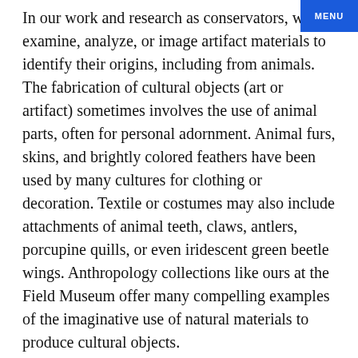In our work and research as conservators, we examine, analyze, or image artifact materials to identify their origins, including from animals. The fabrication of cultural objects (art or artifact) sometimes involves the use of animal parts, often for personal adornment. Animal furs, skins, and brightly colored feathers have been used by many cultures for clothing or decoration. Textile or costumes may also include attachments of animal teeth, claws, antlers, porcupine quills, or even iridescent green beetle wings. Anthropology collections like ours at the Field Museum offer many compelling examples of the imaginative use of natural materials to produce cultural objects.
Sometimes the resulting works are so aesthetically or culturally valued that they create demand for the production of similar objects. Some kingfisher bird species were hunted to extinction in China for their bright turquoise feathers used